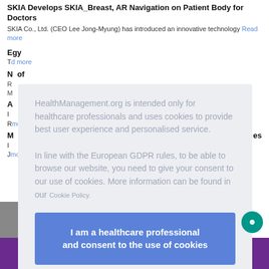SKIA Develops SKIA_Breast, AR Navigation on Patient Body for Doctors
SKIA Co., Ltd. (CEO Lee Jong-Myung) has introduced an innovative technology Read more
HealthManagement.org is intended only for healthcare professionals and uses cookies to provide best user experience and personalised service.

In line with the European GDPR rules, to be able to browse our website, you need to give your consent to our use of cookies. More information can be found in our Cookie Policy.
I am a healthcare professional and consent to the use of cookies
INSIGHTS